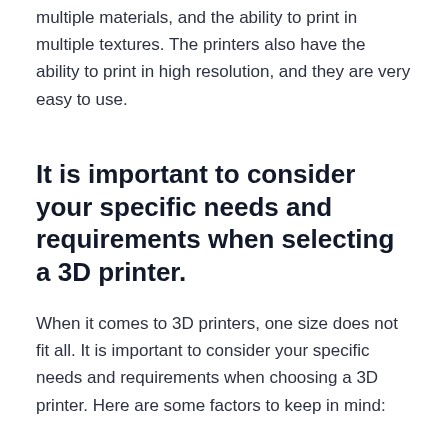multiple materials, and the ability to print in multiple textures. The printers also have the ability to print in high resolution, and they are very easy to use.
It is important to consider your specific needs and requirements when selecting a 3D printer.
When it comes to 3D printers, one size does not fit all. It is important to consider your specific needs and requirements when choosing a 3D printer. Here are some factors to keep in mind: